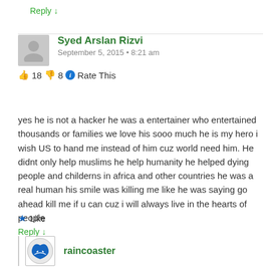Reply ↓
Syed Arslan Rizvi
September 5, 2015 • 8:21 am
👍 18 👎 8 ℹ Rate This
yes he is not a hacker he was a entertainer who entertained thousands or families we love his sooo much he is my hero i wish US to hand me instead of him cuz world need him. He didnt only help muslims he help humanity he helped dying people and childerns in africa and other countries he was a real human his smile was killing me like he was saying go ahead kill me if u can cuz i will always live in the hearts of people
★ Like
Reply ↓
raincoaster